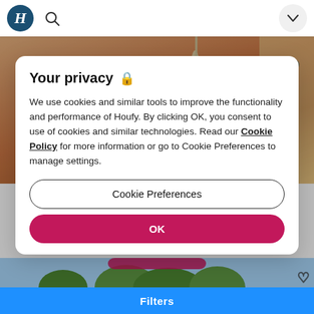H [logo] [search icon] [dropdown button]
[Figure (screenshot): Interior room photo showing ceiling fan with white blades on a rose/peach colored ceiling]
Your privacy 🔒
We use cookies and similar tools to improve the functionality and performance of Houfy. By clicking OK, you consent to use of cookies and similar technologies. Read our Cookie Policy for more information or go to Cookie Preferences to manage settings.
Cookie Preferences
OK
[Figure (photo): Exterior house photo showing trees against sky]
Filters